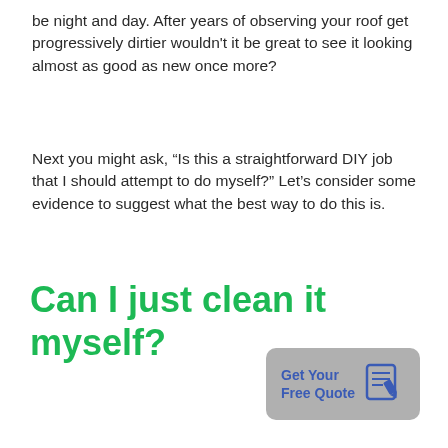be night and day. After years of observing your roof get progressively dirtier wouldn't it be great to see it looking almost as good as new once more?
Next you might ask, “Is this a straightforward DIY job that I should attempt to do myself?” Let’s consider some evidence to suggest what the best way to do this is.
Can I just clean it myself?
[Figure (other): Get Your Free Quote button with document/pencil icon]